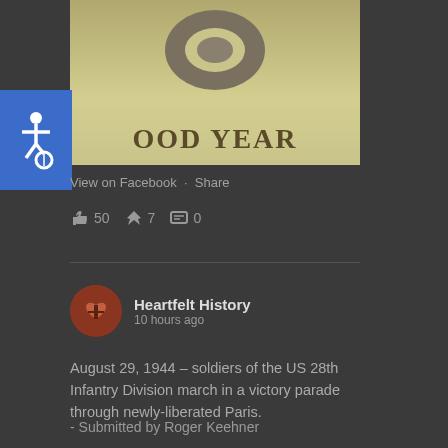[Figure (photo): Partial Goodyear advertisement or vintage poster showing a tire and the Goodyear logo text on a yellowish/cream background]
[Figure (illustration): Blue accessibility wheelchair icon on blue square background]
View on Facebook · Share
👍 50  ↗7  💬 0
Heartfelt History
10 hours ago
August 29, 1944 – soldiers of the US 28th Infantry Division march in a victory parade through newly-liberated Paris.
- Submitted by Roger Keehner